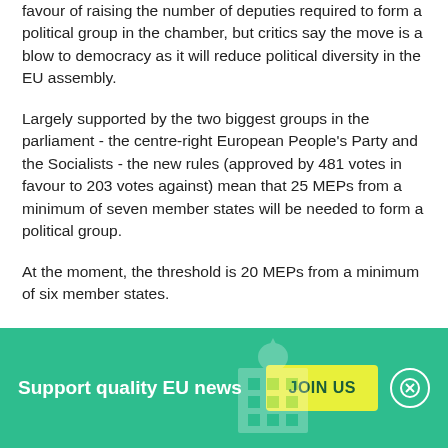favour of raising the number of deputies required to form a political group in the chamber, but critics say the move is a blow to democracy as it will reduce political diversity in the EU assembly.
Largely supported by the two biggest groups in the parliament - the centre-right European People's Party and the Socialists - the new rules (approved by 481 votes in favour to 203 votes against) mean that 25 MEPs from a minimum of seven member states will be needed to form a political group.
At the moment, the threshold is 20 MEPs from a minimum of six member states.
[Figure (infographic): Green banner with text 'Support quality EU news', a yellow JOIN US button, and a close (X) circle button. Background has faint building/parliament icon.]